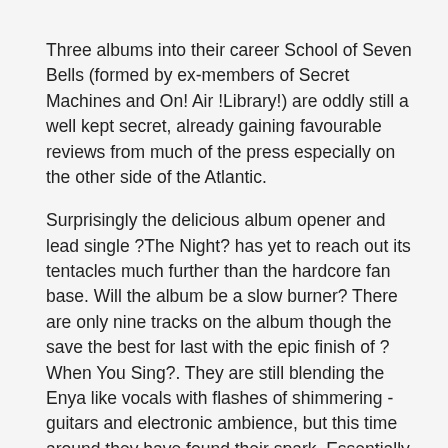Three albums into their career School of Seven Bells (formed by ex-members of Secret Machines and On! Air !Library!) are oddly still a well kept secret, already gaining favourable reviews from much of the press especially on the other side of the Atlantic.
Surprisingly the delicious album opener and lead single ?The Night? has yet to reach out its tentacles much further than the hardcore fan base. Will the album be a slow burner? There are only nine tracks on the album though the save the best for last with the epic finish of ?When You Sing?. They are still blending the Enya like vocals with flashes of shimmering -guitars and electronic ambience, but this time around they have found their spark. Essentially they work best when being driven by the beat; the songs are more focused and the guitars begin their romance with synth lines. Benjamin Curtis?s 80s guitar lines, when allowed to take centre stage, ( like on ?White Winds?) become the highlight of most of their music. Alejandra Deheza?s vocals are what they are, ethereal and tranquil but throughout the 40 minutes they can become rather one dimensional, meaning that the music has to really keep the audiences focus, which they